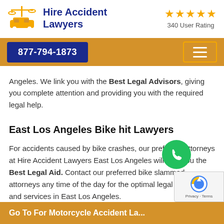[Figure (logo): Hire Accident Lawyers logo with scales of justice and car icon]
Hire Accident Lawyers
340 User Rating with 5 stars
877-794-1873
Angeles. We link you with the Best Legal Advisors, giving you complete attention and providing you with the required legal help.
East Los Angeles Bike hit Lawyers
For accidents caused by bike crashes, our preferred attorneys at Hire Accident Lawyers East Los Angeles will give you the Best Legal Aid. Contact our preferred bike slammed attorneys any time of the day for the optimal legal advisory and services in East Los Angeles.
Go To For Motorcycle Accident Lawyers